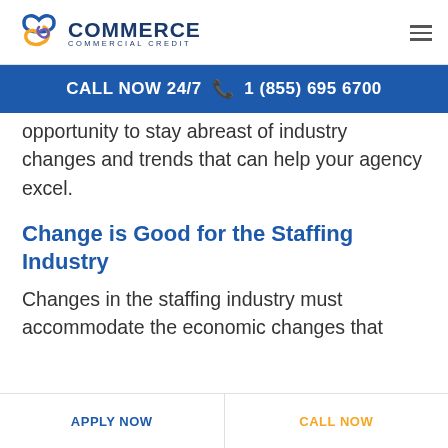COMMERCE COMMERCIAL CREDIT
CALL NOW 24/7   1 (855) 695 6700
opportunity to stay abreast of industry changes and trends that can help your agency excel.
Change is Good for the Staffing Industry
Changes in the staffing industry must accommodate the economic changes that
APPLY NOW   CALL NOW